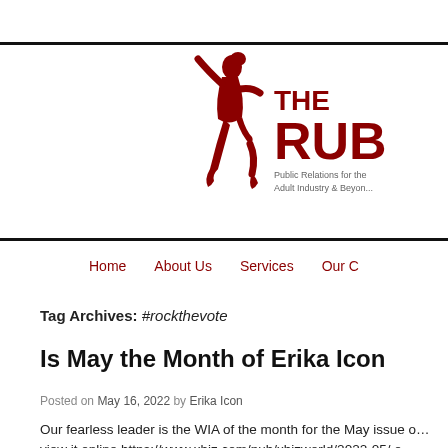[Figure (logo): The Rub PR logo — red silhouette of a woman figure with 'THE RUB' in bold red text and tagline 'Public Relations for the Adult Industry & Beyond']
Home   About Us   Services   Our C
Tag Archives: #rockthevote
Is May the Month of Erika Icon
Posted on May 16, 2022 by Erika Icon
Our fearless leader is the WIA of the month for the May issue o… view it online https://www.xbiz.com/pub/xbizworld/2022-05/ o